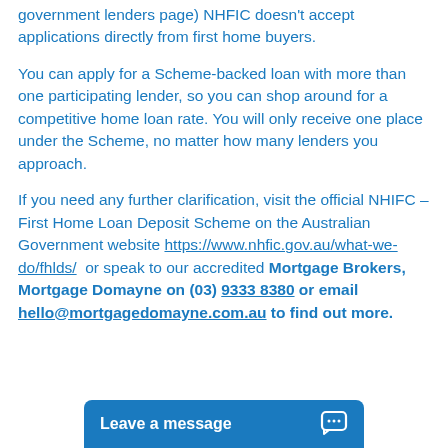government lenders page) NHFIC doesn't accept applications directly from first home buyers.
You can apply for a Scheme-backed loan with more than one participating lender, so you can shop around for a competitive home loan rate. You will only receive one place under the Scheme, no matter how many lenders you approach.
If you need any further clarification, visit the official NHIFC – First Home Loan Deposit Scheme on the Australian Government website https://www.nhfic.gov.au/what-we-do/fhlds/ or speak to our accredited Mortgage Brokers, Mortgage Domayne on (03) 9333 8380 or email hello@mortgagedomayne.com.au to find out more.